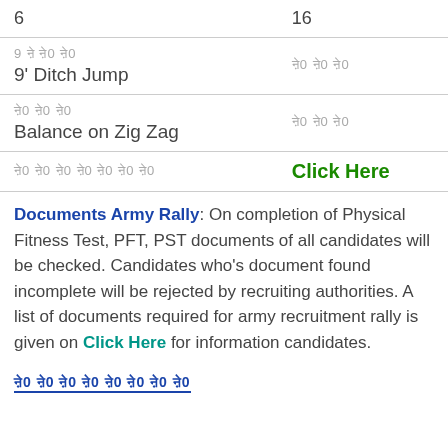| 6 | 16 |
| 9 [hindi] [hindi] [hindi]
9' Ditch Jump | [hindi] [hindi] [hindi] |
| [hindi] [hindi]
Balance on Zig Zag | [hindi] [hindi] [hindi] |
| [hindi] [hindi] [hindi] [hindi] [hindi] [hindi] [hindi] | Click Here |
Documents Army Rally: On completion of Physical Fitness Test, PFT, PST documents of all candidates will be checked. Candidates who's document found incomplete will be rejected by recruiting authorities. A list of documents required for army recruitment rally is given on Click Here for information candidates.
[hindi link text - दस्तावेज़ सूची डाउनलोड]